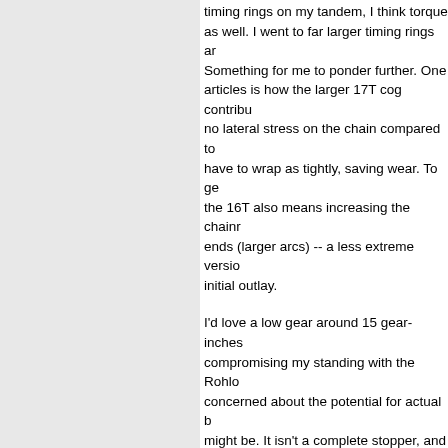timing rings on my tandem, I think torque as well. I went to far larger timing rings ar Something for me to ponder further. One articles is how the larger 17T cog contribu no lateral stress on the chain compared to have to wrap as tightly, saving wear. To ge the 16T also means increasing the chainr ends (larger arcs) -- a less extreme versio initial outlay.
I'd love a low gear around 15 gear-inches compromising my standing with the Rohlo concerned about the potential for actual b might be. It isn't a complete stopper, and i really is possible to generate pretty high to grade with 32kg/72lb of gear.
In earlier days ( <cough> late 1970s <cou the Eugene Hill Tour. It was later taken up even a fundraiser for them. I was deep int (logarithmic graph paper days. Australian: low gearing efforts/Low Gear Fellowship f chainrings behind). I modified a number o Mountain Tamer Quad days, too, though I possible to actually ride a 12-inch low gea Biggest problem was catching the pedal...